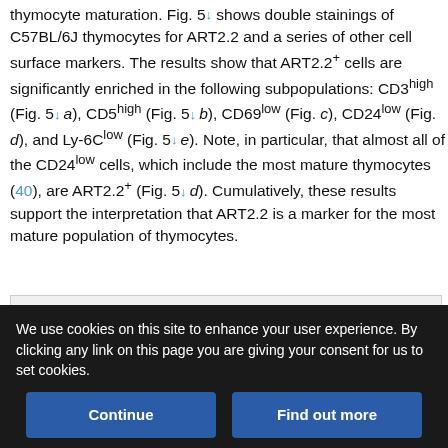thymocyte maturation. Fig. 5↓ shows double stainings of C57BL/6J thymocytes for ART2.2 and a series of other cell surface markers. The results show that ART2.2+ cells are significantly enriched in the following subpopulations: CD3high (Fig. 5↓ a), CD5high (Fig. 5↓ b), CD69low (Fig. c), CD24low (Fig. d), and Ly-6Clow (Fig. 5↓ e). Note, in particular, that almost all of the CD24low cells, which include the most mature thymocytes (40), are ART2.2+ (Fig. 5↓ d). Cumulatively, these results support the interpretation that ART2.2 is a marker for the most mature population of thymocytes.
[Figure (other): Partially visible figure box (grey background), likely a multi-panel flow cytometry figure]
We use cookies on this site to enhance your user experience. By clicking any link on this page you are giving your consent for us to set cookies.